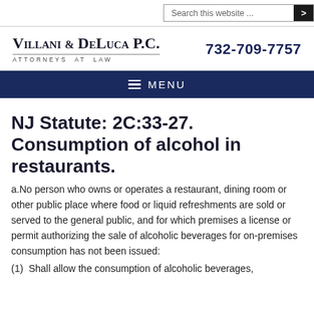Search this website ...
[Figure (logo): Villani & DeLuca P.C. Attorneys at Law law firm logo with phone number 732-709-7757]
MENU
NJ Statute: 2C:33-27. Consumption of alcohol in restaurants.
a.No person who owns or operates a restaurant, dining room or other public place where food or liquid refreshments are sold or served to the general public, and for which premises a license or permit authorizing the sale of alcoholic beverages for on-premises consumption has not been issued:
(1)  Shall allow the consumption of alcoholic beverages,